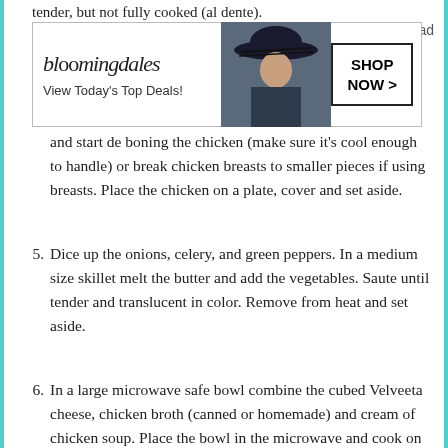tender, but not fully cooked (al dente).
[Figure (other): Bloomingdale's advertisement banner with woman in wide-brim hat. Text reads: bloomingdales, View Today's Top Deals!, SHOP NOW >]
and start de boning the chicken (make sure it's cool enough to handle) or break chicken breasts to smaller pieces if using breasts. Place the chicken on a plate, cover and set aside.
5. Dice up the onions, celery, and green peppers. In a medium size skillet melt the butter and add the vegetables. Saute until tender and translucent in color. Remove from heat and set aside.
6. In a large microwave safe bowl combine the cubed Velveeta cheese, chicken broth (canned or homemade) and cream of chicken soup. Place the bowl in the microwave and cook on low for about 5-7 minutes until mixture is smooth and the cheese is melted. (you can also use the defrost setting).